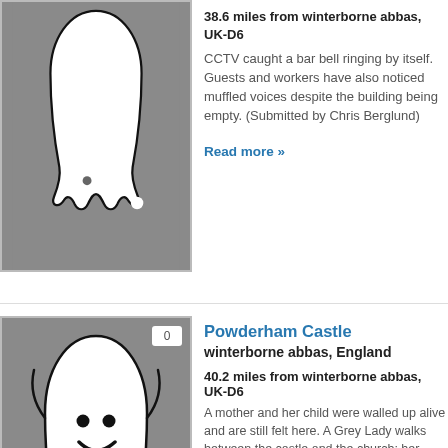[Figure (illustration): Ghost illustration on grey background (partially visible at top)]
38.6 miles from winterborne abbas, UK-D6
CCTV caught a bar bell ringing by itself. Guests and workers have also noticed muffled voices despite the building being empty. (Submitted by Chris Berglund)
Read more »
[Figure (illustration): Ghost illustration on grey background with smile and arms raised]
Powderham Castle
winterborne abbas, England
40.2 miles from winterborne abbas, UK-D6
A mother and her child were walled up alive and are still felt here. A Grey Lady walks between the castle and the church; her appearance is said to be a bad omen. (Submitted by Chris Berglund)
Read more »
[Figure (illustration): Ghost illustration on grey background (partially visible at bottom)]
Salisbury Cathedral
Salisbury, Wiltshire
40.7 miles from winterborne abbas, UK-D